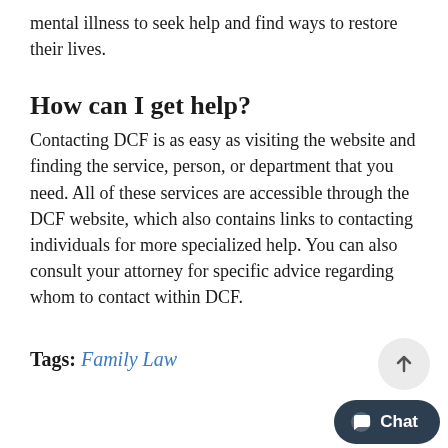mental illness to seek help and find ways to restore their lives.
How can I get help?
Contacting DCF is as easy as visiting the website and finding the service, person, or department that you need. All of these services are accessible through the DCF website, which also contains links to contacting individuals for more specialized help. You can also consult your attorney for specific advice regarding whom to contact within DCF.
Tags: Family Law